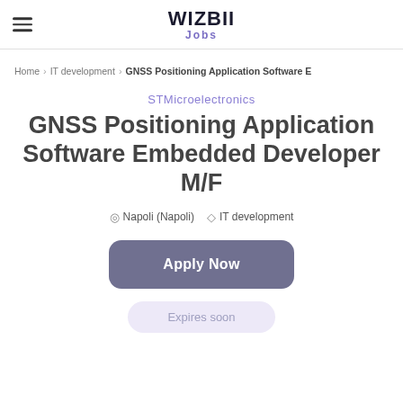WIZBII Jobs
Home > IT development > GNSS Positioning Application Software E
STMicroelectronics
GNSS Positioning Application Software Embedded Developer M/F
Napoli (Napoli)  IT development
Apply Now
Expires soon